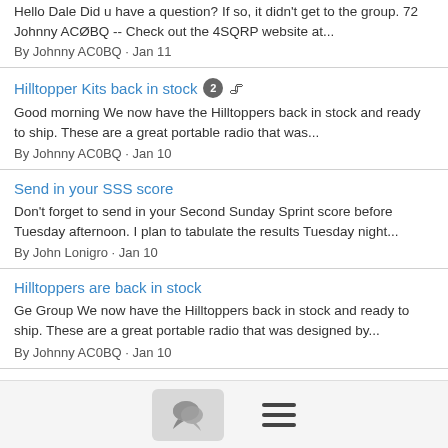Hello Dale Did u have a question? If so, it didn't get to the group. 72 Johnny ACØBQ -- Check out the 4SQRP website at...
By Johnny AC0BQ · Jan 11
Hilltopper Kits back in stock [2] 📎
Good morning We now have the Hilltoppers back in stock and ready to ship. These are a great portable radio that was...
By Johnny AC0BQ · Jan 10
Send in your SSS score
Don't forget to send in your Second Sunday Sprint score before Tuesday afternoon. I plan to tabulate the results Tuesday night...
By John Lonigro · Jan 10
Hilltoppers are back in stock
Ge Group We now have the Hilltoppers back in stock and ready to ship. These are a great portable radio that was designed by...
By Johnny AC0BQ · Jan 10
Now: 4SQRP Second Sunday Sprint - 01/09/2022